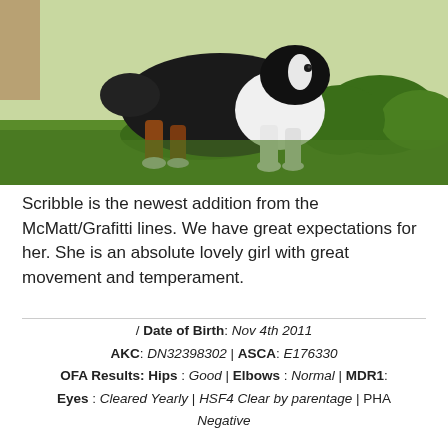[Figure (photo): Australian Shepherd dog standing on green grass outdoors, black, white, and tan tricolor coat, side profile view with head turned toward camera]
Scribble is the newest addition from the McMatt/Grafitti lines. We have great expectations for her. She is an absolute lovely girl with great movement and temperament.
/ Date of Birth: Nov 4th 2011
AKC: DN32398302 | ASCA: E176330
OFA Results: Hips : Good | Elbows : Normal | MDR1:
Eyes : Cleared Yearly | HSF4 Clear by parentage | PHA Negative